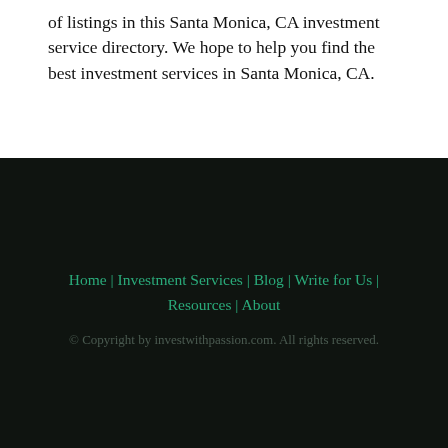of listings in this Santa Monica, CA investment service directory. We hope to help you find the best investment services in Santa Monica, CA.
Home | Investment Services | Blog | Write for Us | Resources | About
© Copyright by investwithpassion.com. All rights reserved.